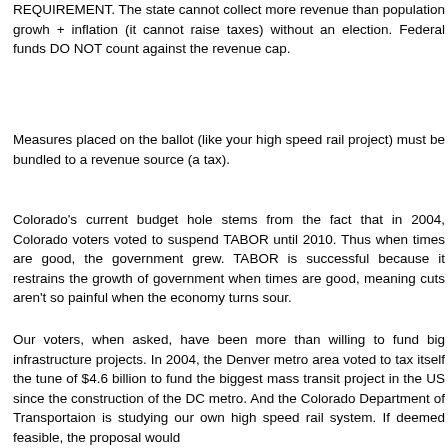REQUIREMENT. The state cannot collect more revenue than population growh + inflation (it cannot raise taxes) without an election. Federal funds DO NOT count against the revenue cap.
Measures placed on the ballot (like your high speed rail project) must be bundled to a revenue source (a tax).
Colorado's current budget hole stems from the fact that in 2004, Colorado voters voted to suspend TABOR until 2010. Thus when times are good, the government grew. TABOR is successful because it restrains the growth of government when times are good, meaning cuts aren't so painful when the economy turns sour.
Our voters, when asked, have been more than willing to fund big infrastructure projects. In 2004, the Denver metro area voted to tax itself the tune of $4.6 billion to fund the biggest mass transit project in the US since the construction of the DC metro. And the Colorado Department of Transportaion is studying our own high speed rail system. If deemed feasible, the proposal would